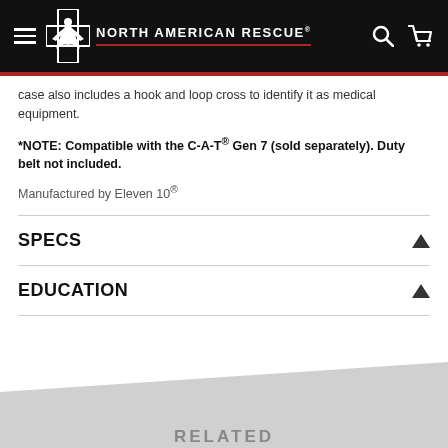North American Rescue
case also includes a hook and loop cross to identify it as medical equipment.
*NOTE: Compatible with the C-A-T® Gen 7 (sold separately). Duty belt not included.
Manufactured by Eleven 10®
SPECS
EDUCATION
RELATED